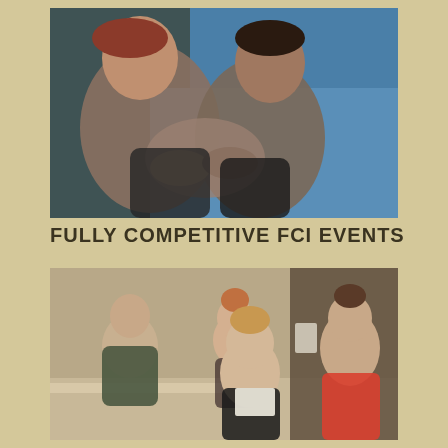[Figure (photo): Two female athletes grappling/wrestling on a blue mat in close contact, intense expressions]
FULLY COMPETITIVE FCI EVENTS
[Figure (photo): Group of people at a registration or weigh-in table; a woman in the center holds a paper and flexes her arm, another woman in red stands to the right, a man leans over the table on the left]